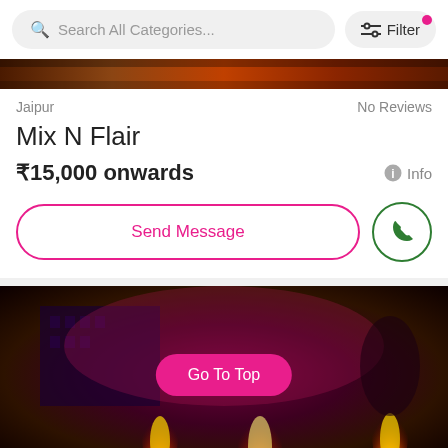Search All Categories... | Filter
[Figure (photo): Top portion of a dark/warm-toned event photo strip]
Jaipur	No Reviews
Mix N Flair
₹15,000 onwards	Info
Send Message
[Figure (photo): Event photo showing fire performers with flames against a pink/magenta backdrop with a building projection, with a 'Go To Top' button overlay]